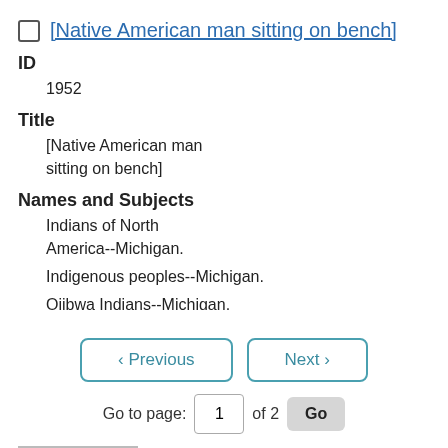[Native American man sitting on bench]
ID
1952
Title
[Native American man sitting on bench]
Names and Subjects
Indians of North America--Michigan.
Indigenous peoples--Michigan.
Ojibwa Indians--Michigan.
Older persons--Michigan--1910-1920